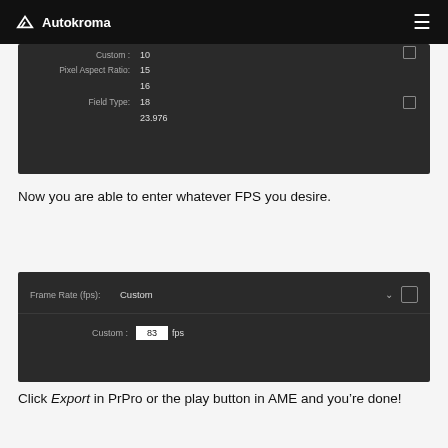Autokroma
[Figure (screenshot): Dark-themed video export settings panel showing a dropdown list with frame rate options: Custom, 10, 15, 16, 18, 23.976, with labels Pixel Aspect Ratio and Field Type on the left, and checkboxes on the right.]
Now you are able to enter whatever FPS you desire.
[Figure (screenshot): Dark-themed video export settings panel showing Frame Rate (fps) set to Custom with a dropdown chevron and checkbox, and a Custom field showing 83 fps in an input box.]
Click Export in PrPro or the play button in AME and you’re done!